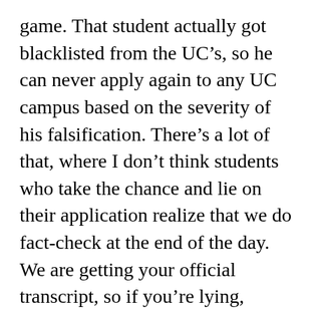game. That student actually got blacklisted from the UC’s, so he can never apply again to any UC campus based on the severity of his falsification. There’s a lot of that, where I don’t think students who take the chance and lie on their application realize that we do fact-check at the end of the day. We are getting your official transcript, so if you’re lying, you’re just putting yourself in unnecessary danger. It’s not like we won’t admit you if you don’t have all As. That’s where a lot of students get tripped up, because they’re like, “I want to show